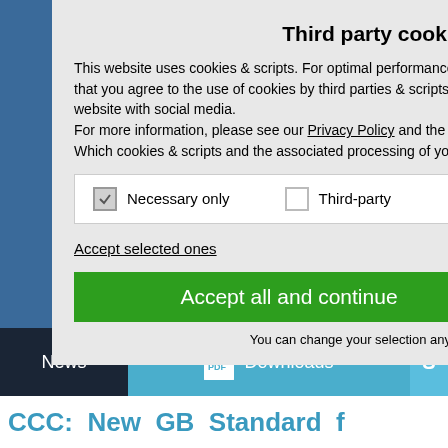Third party cookies & scripts
This website uses cookies & scripts. For optimal performance and advertisement purposes it is recommended that you agree to the use of cookies by third parties & scripts. We do not share information about your use of our website with social media.
For more information, please see our Privacy Policy and the Imprint.
Which cookies & scripts and the associated processing of your personal data do you agree to?
Necessary only
Third-party
Accept selected ones
Accept all and continue
You can change your selection anytime under Privacy Policy .
News
Downloads
CCC: New GB Standard f